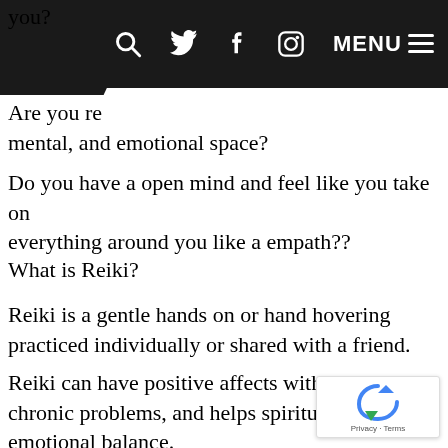you?
[Figure (screenshot): Website navigation bar with dark background containing search icon, Twitter bird icon, Facebook f icon, Instagram camera icon, and MENU hamburger icon in white]
Are you re[ady to reclaim your physical,] mental, and emotional space?
Do you have a open mind and feel like you take on everything around you like a empath??
What is Reiki?
Reiki is a gentle hands on or hand hovering practiced individually or shared with a friend.
Reiki can have positive affects with acute and chronic problems, and helps spiritual growth and emotional balance.
[Figure (logo): Google reCAPTCHA badge with blue recycling arrow icon and Privacy - Terms text]